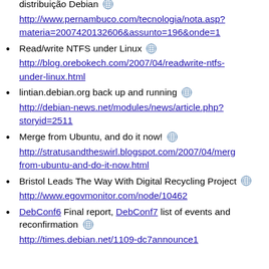distribuição Debian  http://www.pernambuco.com/tecnologia/nota.asp?materia=2007420132606&assunto=196&onde=1
Read/write NTFS under Linux  http://blog.orebokech.com/2007/04/readwrite-ntfs-under-linux.html
lintian.debian.org back up and running  http://debian-news.net/modules/news/article.php?storyid=2511
Merge from Ubuntu, and do it now!  http://stratusandtheswirl.blogspot.com/2007/04/merge-from-ubuntu-and-do-it-now.html
Bristol Leads The Way With Digital Recycling Project  http://www.egovmonitor.com/node/10462
DebConf6 Final report, DebConf7 list of events and reconfirmation  http://times.debian.net/1109-dc7announce1